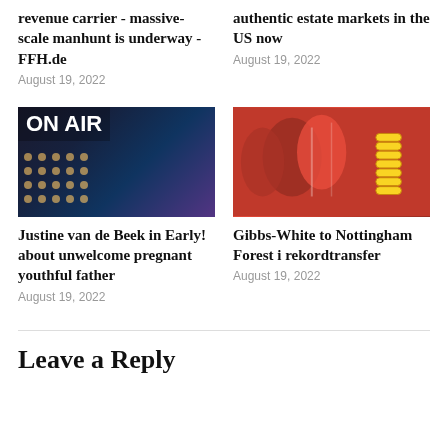revenue carrier - massive-scale manhunt is underway - FFH.de
August 19, 2022
authentic estate markets in the US now
August 19, 2022
[Figure (photo): Dark studio image with ON AIR text overlay and illuminated equipment panels]
Justine van de Beek in Early! about unwelcome pregnant youthful father
August 19, 2022
[Figure (photo): Soccer players in red jerseys celebrating with stacked gold coins illustration overlay]
Gibbs-White to Nottingham Forest i rekordtransfer
August 19, 2022
Leave a Reply